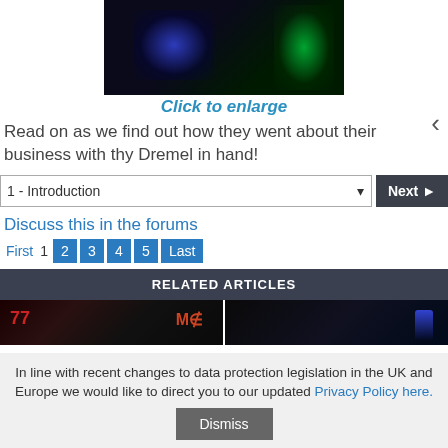[Figure (photo): A computer case with blue and green LED lighting in a dark environment]
Click to enlarge
Read on as we find out how they went about their business with thy Dremel in hand!
1 - Introduction [dropdown]  Next ▶
Discuss this in the forums
First  1  2  3  4  5  Last
RELATED ARTICLES
[Figure (photo): Two related article thumbnail images side by side]
In line with recent changes to data protection legislation in the UK and Europe we would like to direct you to our updated Privacy Policy here.
Dismiss